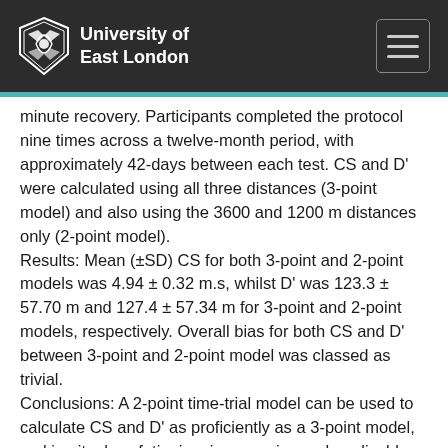University of East London
minute recovery. Participants completed the protocol nine times across a twelve-month period, with approximately 42-days between each test. CS and D' were calculated using all three distances (3-point model) and also using the 3600 and 1200 m distances only (2-point model). Results: Mean (±SD) CS for both 3-point and 2-point models was 4.94 ± 0.32 m.s, whilst D' was 123.3 ± 57.70 m and 127.4 ± 57.34 m for 3-point and 2-point models, respectively. Overall bias for both CS and D' between 3-point and 2-point model was classed as trivial. Conclusions: A 2-point time-trial model can be used to calculate CS and D' as proficiently as a 3-point model, making it a less fatiguing, inexpensive and applicable method for coaches, practitioners and